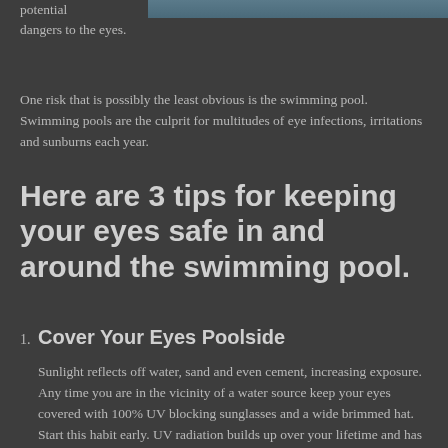[Figure (photo): Swimming pool photo at the top right of the page]
potential dangers to the eyes.
One risk that is possibly the least obvious is the swimming pool. Swimming pools are the culprit for multitudes of eye infections, irritations and sunburns each year.
Here are 3 tips for keeping your eyes safe in and around the swimming pool.
1. Cover Your Eyes Poolside
Sunlight reflects off water, sand and even cement, increasing exposure. Any time you are in the vicinity of a water source keep your eyes covered with 100% UV blocking sunglasses and a wide brimmed hat. Start this habit early. UV radiation builds up over your lifetime and has been linked to eye diseases such as cataracts and macular-degeneration in adults. Additionally, even short